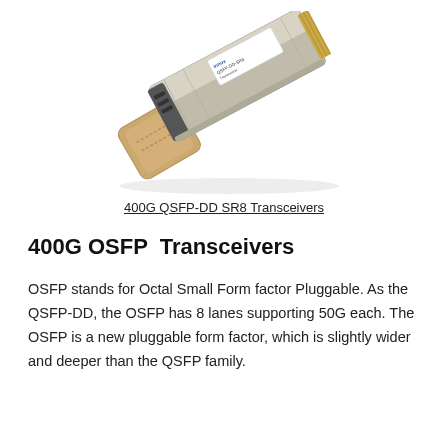[Figure (photo): Photo of a 400G QSFP-DD SR8 transceiver module with a gold/beige pull tab, silver metal housing, and a label on top.]
400G QSFP-DD SR8 Transceivers
400G OSFP  Transceivers
OSFP stands for Octal Small Form factor Pluggable. As the QSFP-DD, the OSFP has 8 lanes supporting 50G each. The OSFP is a new pluggable form factor, which is slightly wider and deeper than the QSFP family.